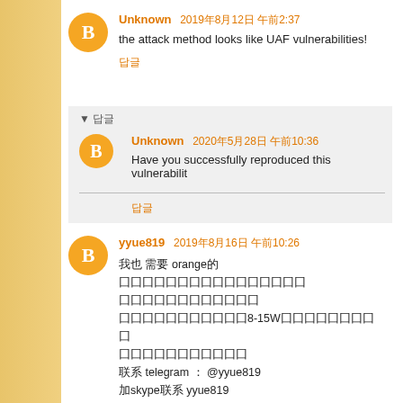Unknown 2019年8月12日 午前2:37
the attack method looks like UAF vulnerabilities!
답글
▼ 답글
Unknown 2020年5月28日 午前10:36
Have you successfully reproduced this vulnerability
답글
yyue819 2019年8月16日 午前10:26
我也 需要 orange的
[Chinese text lines]
[Chinese text line]
[Chinese text with 8-15W]
[Chinese text line]
联系 telegram ： @yyue819
加skype联系 yyue819
[Chinese text line]